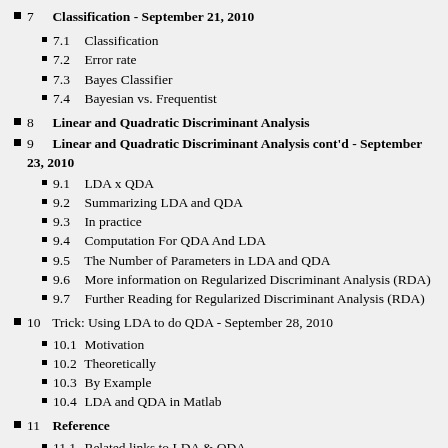7  Classification - September 21, 2010
7.1  Classification
7.2  Error rate
7.3  Bayes Classifier
7.4  Bayesian vs. Frequentist
8  Linear and Quadratic Discriminant Analysis
9  Linear and Quadratic Discriminant Analysis cont'd - September 23, 2010
9.1  LDA x QDA
9.2  Summarizing LDA and QDA
9.3  In practice
9.4  Computation For QDA And LDA
9.5  The Number of Parameters in LDA and QDA
9.6  More information on Regularized Discriminant Analysis (RDA)
9.7  Further Reading for Regularized Discriminant Analysis (RDA)
10  Trick: Using LDA to do QDA - September 28, 2010
10.1  Motivation
10.2  Theoretically
10.3  By Example
10.4  LDA and QDA in Matlab
11  Reference
11.1  Related links to LDA & QDA